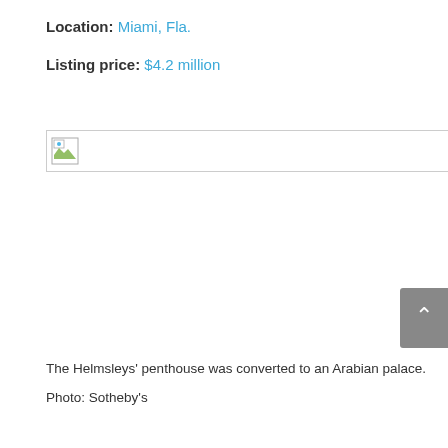Location: Miami, Fla.
Listing price: $4.2 million
[Figure (photo): Broken/missing image placeholder with small landscape icon thumbnail]
The Helmsleys' penthouse was converted to an Arabian palace. Photo: Sotheby's